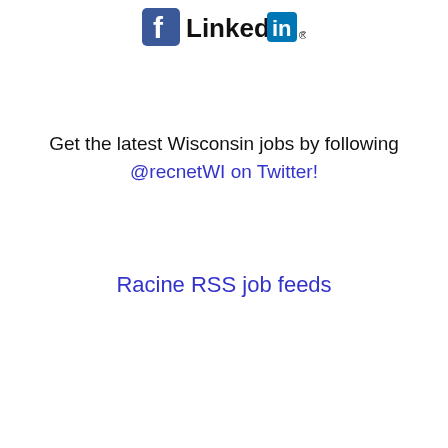[Figure (logo): Facebook and LinkedIn social media icons/logos side by side]
Get the latest Wisconsin jobs by following @recnetWI on Twitter!
Racine RSS job feeds